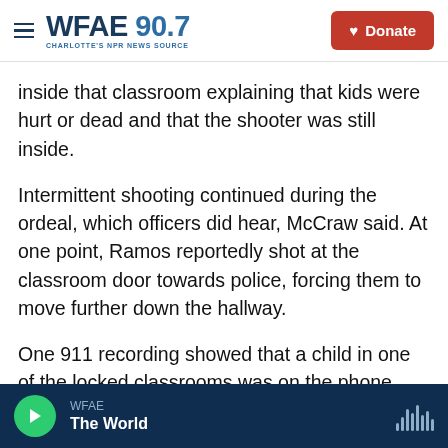WFAE 90.7 | CHARLOTTE'S NPR NEWS SOURCE | Donate
inside that classroom explaining that kids were hurt or dead and that the shooter was still inside.
Intermittent shooting continued during the ordeal, which officers did hear, McCraw said. At one point, Ramos reportedly shot at the classroom door towards police, forcing them to move further down the hallway.
One 911 recording showed that a child in one of the locked classrooms was on the phone with 911 for an extended period — and requested police to be sent in saying eight or nine kids were still alive,
WFAE | The World